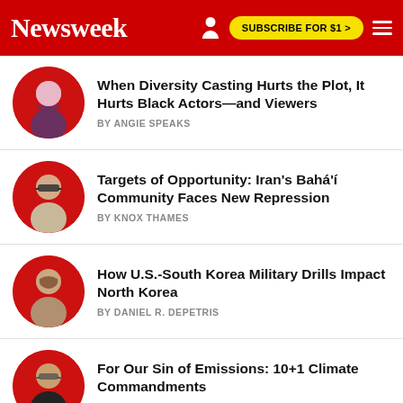Newsweek | SUBSCRIBE FOR $1 >
When Diversity Casting Hurts the Plot, It Hurts Black Actors—and Viewers
BY ANGIE SPEAKS
Targets of Opportunity: Iran's Bahá'í Community Faces New Repression
BY KNOX THAMES
How U.S.-South Korea Military Drills Impact North Korea
BY DANIEL R. DEPETRIS
For Our Sin of Emissions: 10+1 Climate Commandments
BY YOSEF I. ABRAMOWITZ
The Evidence Shows George Soros is Wrong on Crime